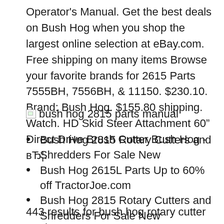Operator's Manual. Get the best deals on Bush Hog when you shop the largest online selection at eBay.com. Free shipping on many items Browse your favorite brands for 2615 Parts 7555BH, 7556BH, & 11150. $230.10. Brand: Bush Hog. $155.80 shipping. Watch. HD Skid Steer Attachment 60" Direct Drive Brush Cutter Bush Hog - вЂ¦.
[Figure (photo): Broken image placeholder with alt text 'bush hog 2815 parts manual']
Bush Hog 2815 Rotary Cutters and Shredders For Sale New
Bush Hog 2615L Parts Up to 60% off TractorJoe.com
Bush Hog 2815 Rotary Cutters and Shredders For Sale New
443 results for bush hog rotary cutter Bush Hog